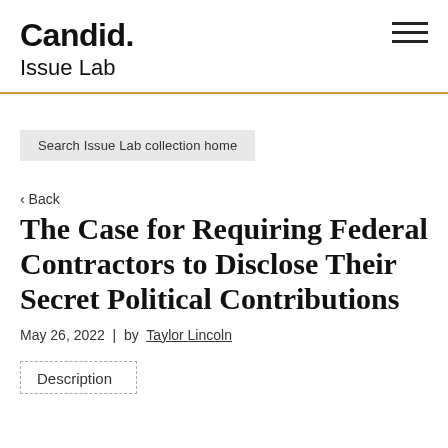Candid.
Issue Lab
Search Issue Lab collection home
‹ Back
The Case for Requiring Federal Contractors to Disclose Their Secret Political Contributions
May 26, 2022  |  by  Taylor Lincoln
Description